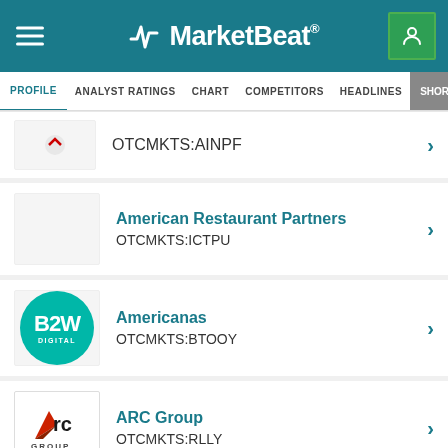MarketBeat
PROFILE | ANALYST RATINGS | CHART | COMPETITORS | HEADLINES | SHORT>NTI
OTCMKTS:AINPF
American Restaurant Partners
OTCMKTS:ICTPU
Americanas
OTCMKTS:BTOOY
ARC Group
OTCMKTS:RLLY
VIEW ALL COMPETITORS